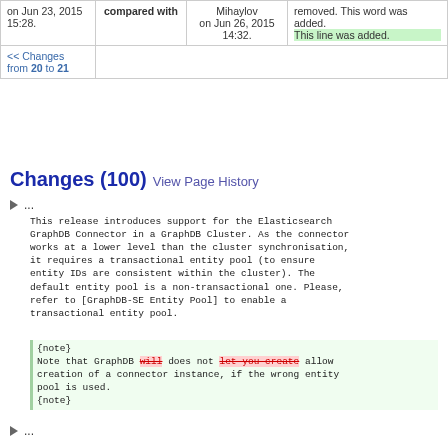| Date | Compared with | Author | Diff |
| --- | --- | --- | --- |
| on Jun 23, 2015 15:28. | compared with | Mihaylov on Jun 26, 2015 14:32. | removed. This word was added.
This line was added. |
| << Changes from 20 to 21 |  |  |  |
Changes (100) View Page History
...
This release introduces support for the Elasticsearch GraphDB Connector in a GraphDB Cluster. As the connector works at a lower level than the cluster synchronisation, it requires a transactional entity pool (to ensure entity IDs are consistent within the cluster). The default entity pool is a non-transactional one. Please, refer to [GraphDB-SE Entity Pool] to enable a transactional entity pool.
{note}
Note that GraphDB will does not let you create allow creation of a connector instance, if the wrong entity pool is used.
{note}
...